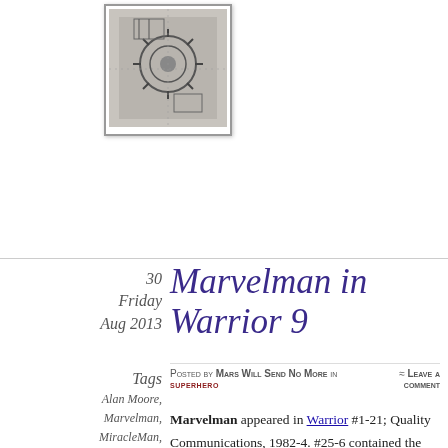[Figure (illustration): Black and white comic book cover image showing mechanical/sci-fi imagery, enclosed in a bordered frame]
Marvelman in Warrior 9
30 Friday Aug 2013
Posted by Mars Will Send No More in superhero ≈ Leave a comment
Tags
Alan Moore, Marvelman, MiracleMan,
Marvelman appeared in Warrior #1-21; Quality Communications, 1982-4. #25-6 contained the letters from Marvel demanding Quality cease publishing Marvelman. The series would start from the beginning as Miracleman, reprinted in color by Eclipse Comics, continuing the story once the first six